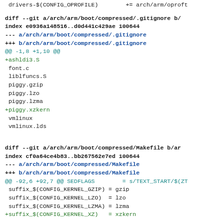drivers-$(CONFIG_OPROFILE)        += arch/arm/oprof
diff --git a/arch/arm/boot/compressed/.gitignore b/
index e0936a148516..d0d441c429ae 100644
--- a/arch/arm/boot/compressed/.gitignore
+++ b/arch/arm/boot/compressed/.gitignore
@@ -1,8 +1,10 @@
+ashldi3.S
 font.c
 liblfuncs.S
 piggy.gzip
 piggy.lzo
 piggy.lzma
+piggy.xzkern
 vmlinux
 vmlinux.lds
diff --git a/arch/arm/boot/compressed/Makefile b/ar
index cf0a64ce4b83..bb267562e7ed 100644
--- a/arch/arm/boot/compressed/Makefile
+++ b/arch/arm/boot/compressed/Makefile
@@ -92,6 +92,7 @@ SEDFLAGS        = s/TEXT_START/$(ZT
 suffix_$(CONFIG_KERNEL_GZIP) = gzip
 suffix_$(CONFIG_KERNEL_LZO)  = lzo
 suffix_$(CONFIG_KERNEL_LZMA) = lzma
+suffix_$(CONFIG_KERNEL_XZ)   = xzkern